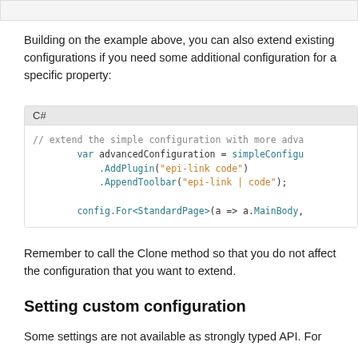Building on the example above, you can also extend existing configurations if you need some additional configuration for a specific property:
[Figure (screenshot): C# code block showing: // extend the simple configuration with more adva... var advancedConfiguration = simpleConfigu... .AddPlugin("epi-link code") .AppendToolbar("epi-link | code"); config.For<StandardPage>(a => a.MainBody,]
Remember to call the Clone method so that you do not affect the configuration that you want to extend.
Setting custom configuration
Some settings are not available as strongly typed API. For